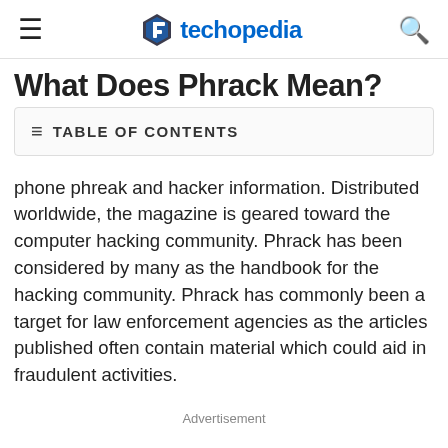techopedia
What Does Phrack Mean?
TABLE OF CONTENTS
phone phreak and hacker information. Distributed worldwide, the magazine is geared toward the computer hacking community. Phrack has been considered by many as the handbook for the hacking community. Phrack has commonly been a target for law enforcement agencies as the articles published often contain material which could aid in fraudulent activities.
Advertisement